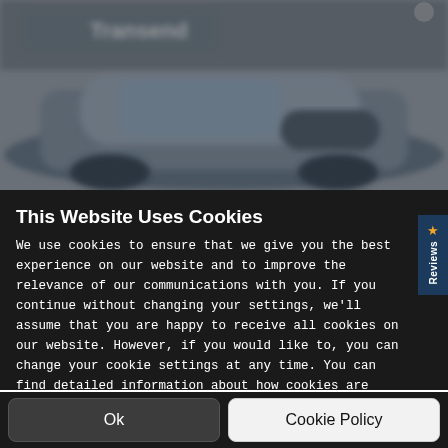[Figure (screenshot): Blurred background showing a dark-colored car/vehicle on a grey background with partial text visible at top]
This Website Uses Cookies
We use cookies to ensure that we give you the best experience on our website and to improve the relevance of our communications with you. If you continue without changing your settings, we'll assume that you are happy to receive all cookies on our website. However, if you would like to, you can change your cookie settings at any time. You can find detailed information about how cookies are used on this website by clicking Cookie Policy.
Ok
Cookie Policy